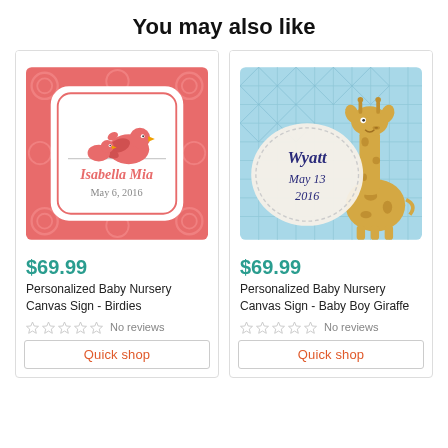You may also like
[Figure (illustration): Personalized baby nursery canvas sign with pink/coral background, rose pattern, two cartoon birds, decorative frame with text 'Isabella Mia May 6, 2016']
$69.99
Personalized Baby Nursery Canvas Sign - Birdies
No reviews
Quick shop
[Figure (illustration): Personalized baby nursery canvas sign with light blue quilted background, cartoon giraffe, cream circle with text 'Wyatt May 13 2016']
$69.99
Personalized Baby Nursery Canvas Sign - Baby Boy Giraffe
No reviews
Quick shop